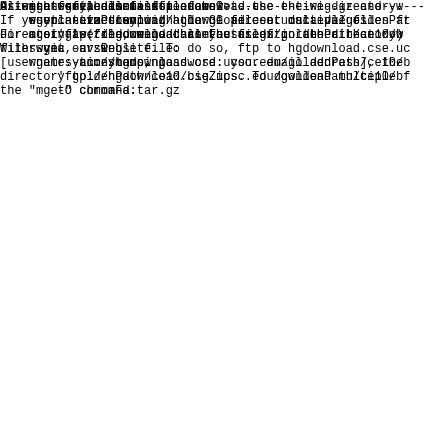for a discussion of how to use the wig.gz and .w
    interaction with the GC percent data values
-----------------------------------------------------------
If you plan to download a large file or multiple files fr
directory, we recommend that you use ftp rather than dow
files via our website. To do so, ftp to hgdownload.cse.uc
[username: anonymous, password: your email address], the
directory goldenPath/ce10/bigZips. To download multiple f
the "mget" command:
mget <filename1> <filename2> ...
    - or -
    mget -a (to download all the files in the directory)
Alternate methods to ftp access.
Using an rsync command to download the entire directory:
    rsync -avzP rsync://hgdownload.cse.ucsc.edu/goldenPa
For a single file, e.g. chromFa.tar.gz
    rsync -avzP
        rsync://hgdownload.cse.ucsc.edu/goldenPath/ce10/b
Or with wget, all files:
    wget --timestamping
        'ftp://hgdownload.cse.ucsc.edu/goldenPath/ce10/b
With wget, a single file:
    wget --timestamping
        'ftp://hgdownload.cse.ucsc.edu/goldenPath/ce10/b
        -O chromFa.tar.gz